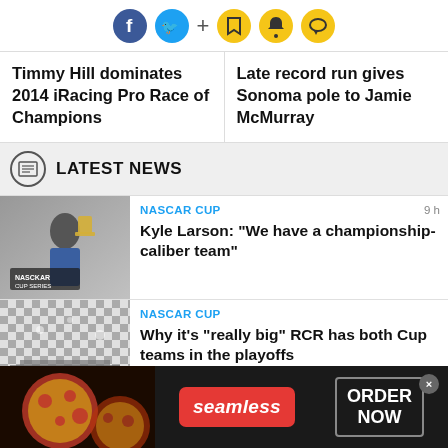[Figure (infographic): Social media icons row: Facebook (blue circle), Twitter (blue circle), plus sign, then bookmark, bell, and chat bubble icons in yellow circles]
Timmy Hill dominates 2014 iRacing Pro Race of Champions
Late record run gives Sonoma pole to Jamie McMurray
LATEST NEWS
[Figure (photo): Kyle Larson in blue race suit holding trophy near NASCAR Cup Series signage, black and white photo]
NASCAR CUP
9 h
Kyle Larson: "We have a championship-caliber team"
[Figure (photo): Checkered flag pattern backdrop with race winner's victory lane setup]
NASCAR CUP
Why it's "really big" RCR has both Cup teams in the playoffs
[Figure (infographic): Seamless food delivery advertisement banner with pizza image, Seamless logo button and ORDER NOW button on dark background]